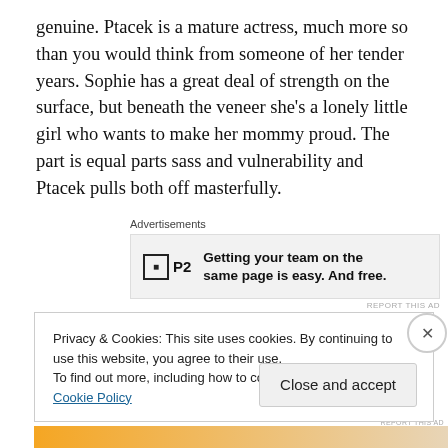genuine. Ptacek is a mature actress, much more so than you would think from someone of her tender years. Sophie has a great deal of strength on the surface, but beneath the veneer she's a lonely little girl who wants to make her mommy proud. The part is equal parts sass and vulnerability and Ptacek pulls both off masterfully.
[Figure (other): Advertisement banner for P2 - 'Getting your team on the same page is easy. And free.' with P2 logo]
Schiff, Perlman and Rossum are all veterans who have a
Privacy & Cookies: This site uses cookies. By continuing to use this website, you agree to their use.
To find out more, including how to control cookies, see here: Cookie Policy